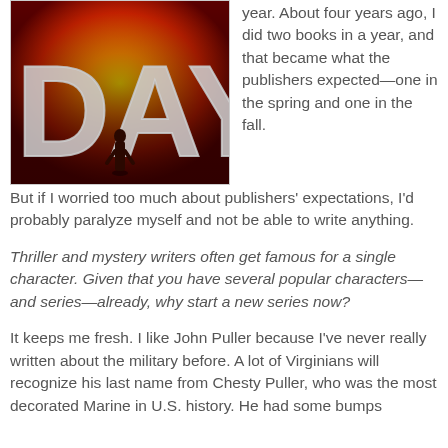[Figure (photo): Book cover showing large letters 'DAY' with a silhouetted figure standing in front of a warm orange/red sunset background.]
year. About four years ago, I did two books in a year, and that became what the publishers expected—one in the spring and one in the fall. But if I worried too much about publishers' expectations, I'd probably paralyze myself and not be able to write anything.
Thriller and mystery writers often get famous for a single character. Given that you have several popular characters—and series—already, why start a new series now?
It keeps me fresh. I like John Puller because I've never really written about the military before. A lot of Virginians will recognize his last name from Chesty Puller, who was the most decorated Marine in U.S. history. He had some bumps